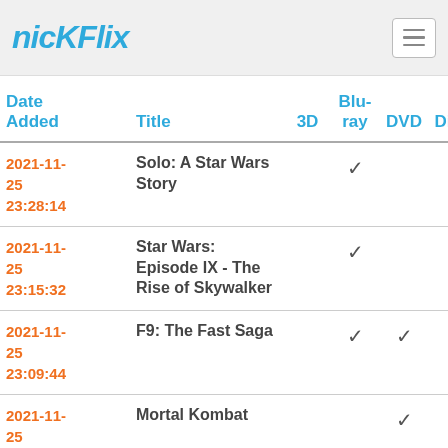nicKFlix
| Date Added | Title | 3D | Blu-ray | DVD | Digital |
| --- | --- | --- | --- | --- | --- |
| 2021-11-25 23:28:14 | Solo: A Star Wars Story |  | ✓ |  | ✓ |
| 2021-11-25 23:15:32 | Star Wars: Episode IX - The Rise of Skywalker |  | ✓ |  | ✓ |
| 2021-11-25 23:09:44 | F9: The Fast Saga |  | ✓ | ✓ | ✓ |
| 2021-11-25 23:51:45 | Mortal Kombat |  |  | ✓ | ✓ |